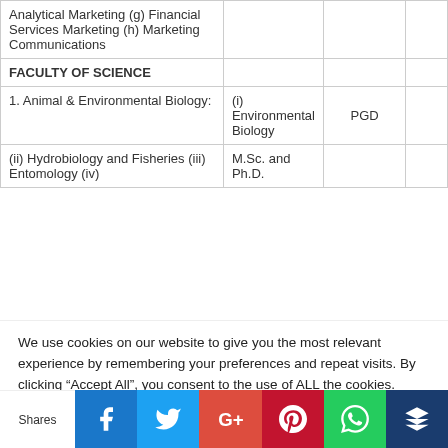| Programme | Specialization | Degree |  |
| --- | --- | --- | --- |
| Analytical Marketing (g) Financial Services Marketing (h) Marketing Communications |  |  |  |
| FACULTY OF SCIENCE |  |  |  |
| 1. Animal & Environmental Biology: | (i) Environmental Biology | PGD |  |
| (ii) Hydrobiology and Fisheries (iii) Entomology (iv) | M.Sc. and Ph.D. |  |  |
We use cookies on our website to give you the most relevant experience by remembering your preferences and repeat visits. By clicking “Accept All”, you consent to the use of ALL the cookies. However, you may visit "Cookie Settings" to provide a controlled consent.
Shares